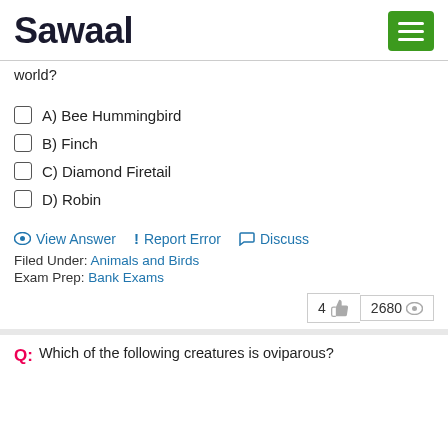Sawaal
world?
A) Bee Hummingbird
B) Finch
C) Diamond Firetail
D) Robin
View Answer   ! Report Error   Discuss
Filed Under: Animals and Birds
Exam Prep: Bank Exams
4  2680
Q. Which of the following creatures is oviparous?